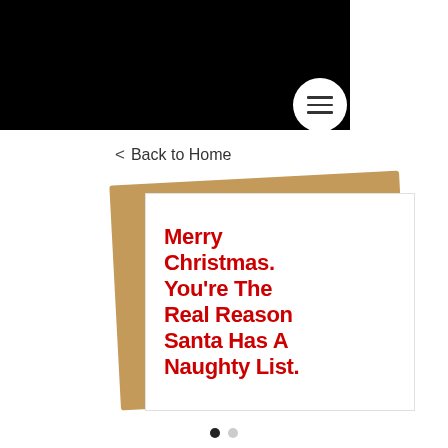[Figure (screenshot): Black navigation header bar with hamburger menu icon in a white circle]
< Back to Home
[Figure (photo): A Christmas greeting card with a kraft paper envelope behind it. The white card displays bold red text reading: Merry Christmas. You're The Real Reason Santa Has A Naughty List.]
● ○